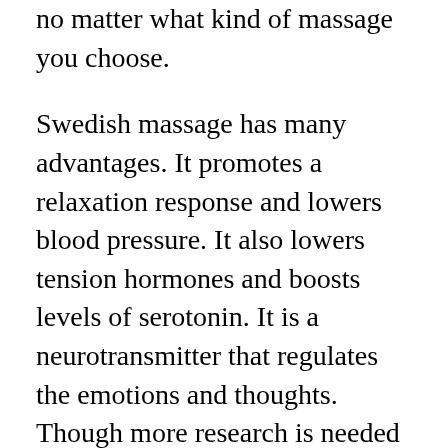no matter what kind of massage you choose.
Swedish massage has many advantages. It promotes a relaxation response and lowers blood pressure. It also lowers tension hormones and boosts levels of serotonin. It is a neurotransmitter that regulates the emotions and thoughts. Though more research is needed in order to prove this, this massage does have a lot of benefits. This is the place to go to find a an energizing and relaxing massage.
Massages will help you feel relaxed and